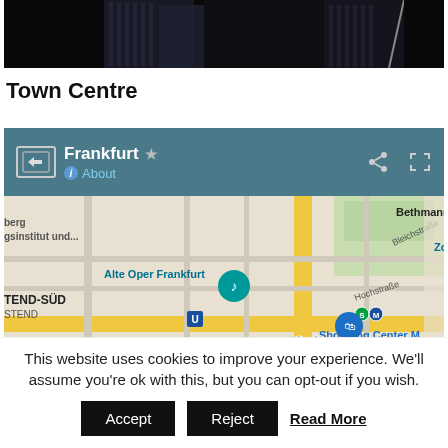[Figure (photo): Top portion of a photo showing tall modern glass skyscraper buildings against a dark background, partially cropped.]
Town Centre
[Figure (map): Google Maps embed showing Frankfurt city centre area with landmarks including Alte Oper Frankfurt, Goethe Haus, Kleinmarkthalle, Shopping Center M, and various streets including Bleichstraße and Hochstraße. Map header shows 'Frankfurt' title with About link, share and expand icons.]
This website uses cookies to improve your experience. We'll assume you're ok with this, but you can opt-out if you wish.
Accept   Reject   Read More